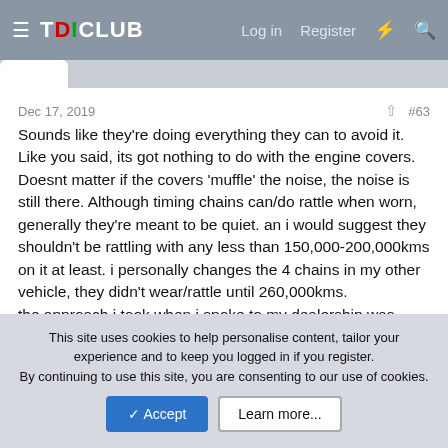TDICLUB — Log in  Register
Dec 17, 2019  #63
Sounds like they're doing everything they can to avoid it. Like you said, its got nothing to do with the engine covers. Doesnt matter if the covers 'muffle' the noise, the noise is still there. Although timing chains can/do rattle when worn, generally they're meant to be quiet. an i would suggest they shouldn't be rattling with any less than 150,000-200,000kms on it at least. i personally changes the 4 chains in my other vehicle, they didn't wear/rattle until 260,000kms.
the approach i took when i spoke to my dealership was theres a fault, the chain has stretched/tensioner failed prematurely. and i dont want it to skip a tooth and destroy itself. i think once i said that they thought it better to pay $7000 and repair it under
This site uses cookies to help personalise content, tailor your experience and to keep you logged in if you register.
By continuing to use this site, you are consenting to our use of cookies.